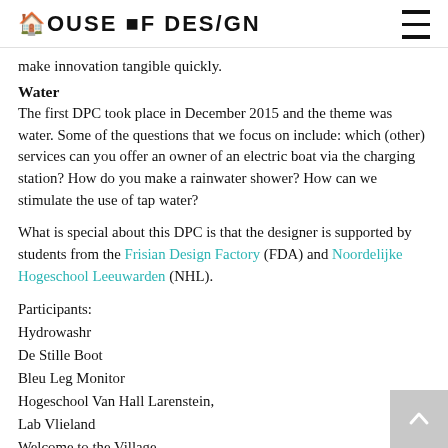HOUSE OF DES/GN
make innovation tangible quickly.
Water
The first DPC took place in December 2015 and the theme was water. Some of the questions that we focus on include: which (other) services can you offer an owner of an electric boat via the charging station? How do you make a rainwater shower? How can we stimulate the use of tap water?
What is special about this DPC is that the designer is supported by students from the Frisian Design Factory (FDA) and Noordelijke Hogeschool Leeuwarden (NHL).
Participants:
Hydrowashr
De Stille Boot
Bleu Leg Monitor
Hogeschool Van Hall Larenstein,
Lab Vlieland
Welcome to the Village
Eekloo Bender Eente